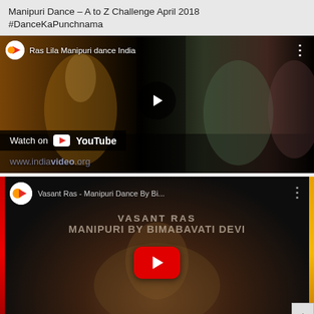Manipuri Dance – A to Z Challenge April 2018 #DanceKaPunchnama
[Figure (screenshot): YouTube video thumbnail showing Manipuri dance performers in traditional colorful costumes on a dark stage, with a play button overlay and 'Watch on YouTube' bar, URL www.indlavideo.org visible, channel title 'Ras Lila Manipuri dance India']
[Figure (screenshot): YouTube video thumbnail for 'Vasant Ras - Manipuri Dance By Bi...' showing text 'VASANT RAS' and 'MANIPURI BY BIMABAVATI DEVI' overlaid on a dark performance image, with a red YouTube play button centered, red left bar and gold right bar framing the video]